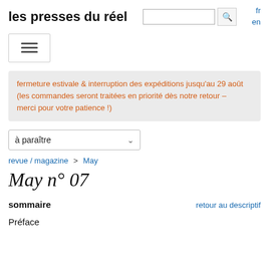les presses du réel
fermeture estivale & interruption des expéditions jusqu'au 29 août (les commandes seront traitées en priorité dès notre retour – merci pour votre patience !)
à paraître
revue / magazine > May
May n° 07
sommaire
retour au descriptif
Préface